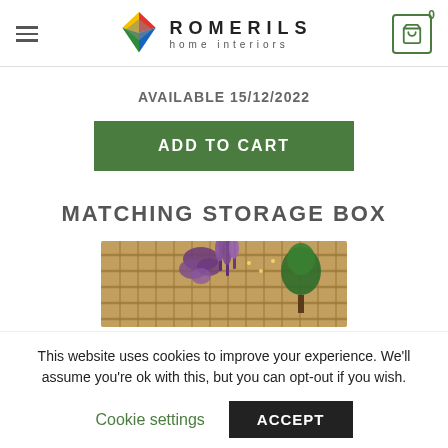Romerils home interiors — navigation header with logo and cart
AVAILABLE 15/12/2022
ADD TO CART
MATCHING STORAGE BOX
[Figure (photo): Outdoor garden scene showing a wooden slatted fence with hanging purple flowering plants and a small green topiary tree]
This website uses cookies to improve your experience. We'll assume you're ok with this, but you can opt-out if you wish.
Cookie settings  ACCEPT